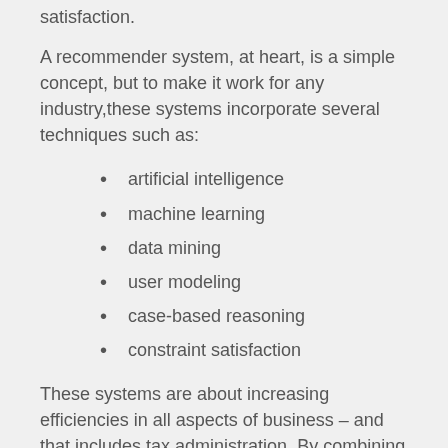satisfaction.
A recommender system, at heart, is a simple concept, but to make it work for any industry,these systems incorporate several techniques such as:
artificial intelligence
machine learning
data mining
user modeling
case-based reasoning
constraint satisfaction
These systems are about increasing efficiencies in all aspects of business – and that includes tax administration. By combining human intuition and knowledge with AI driven recommender systems,tax administrators can arrive at solutions faster (think better audits, faster collections, and targeted enforcement). Decision making, comparisons, and exploration are found in every aspect of tax administration and can be